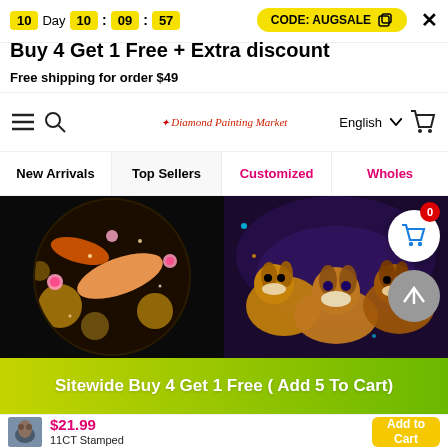10 Day 10 : 09 : 57  CODE: AUGUASALE  X
Buy 4 Get 1 Free + Extra discount
Free shipping for order $49
[Figure (screenshot): Navigation bar with hamburger menu, search icon, logo, English language selector, and shopping cart icon]
New Arrivals
Top Sellers
Customized
Wholes
[Figure (photo): Diamond painting of koi fish with lotus flowers on dark background (circular crop)]
[Figure (photo): Diamond painting of Eevee Pokemon characters in colorful fantasy setting]
Sitewide Buy 4 Get 1 Free ( Add 5 To Cart)
$21.99
11CT Stamped
Add to Cart